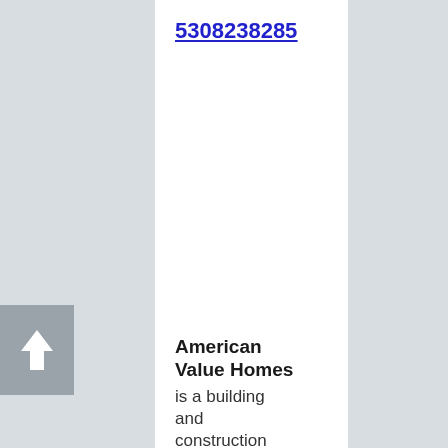5308238285
American Value Homes is a building and construction